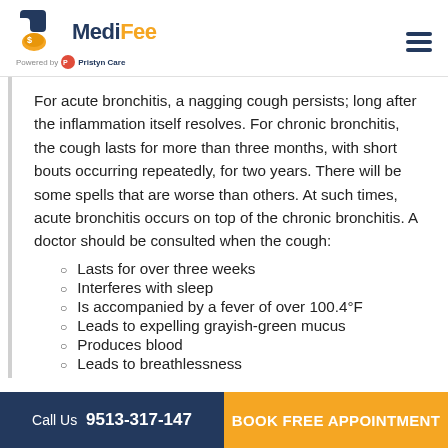MediFee – Powered by Pristyn Care
For acute bronchitis, a nagging cough persists; long after the inflammation itself resolves. For chronic bronchitis, the cough lasts for more than three months, with short bouts occurring repeatedly, for two years. There will be some spells that are worse than others. At such times, acute bronchitis occurs on top of the chronic bronchitis. A doctor should be consulted when the cough:
Lasts for over three weeks
Interferes with sleep
Is accompanied by a fever of over 100.4°F
Leads to expelling grayish-green mucus
Produces blood
Leads to breathlessness
Call Us 9513-317-147  |  BOOK FREE APPOINTMENT